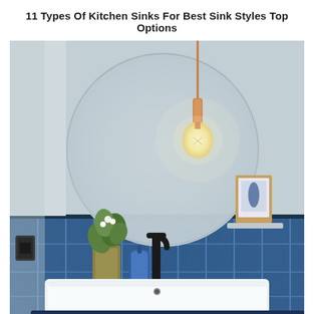11 Types Of Kitchen Sinks For Best Sink Styles Top Options
[Figure (photo): A modern bathroom with a large round frameless mirror mounted on a light blue-grey wall. A copper pendant light hangs in front of the mirror. Blue vertical subway tiles line the lower half of the wall. A white rectangular basin sink sits on a navy blue vanity cabinet. A plant in a gold vase, a blue soap dispenser, and a black faucet are on the counter. A small framed artwork is visible on a shelf reflected in the mirror.]